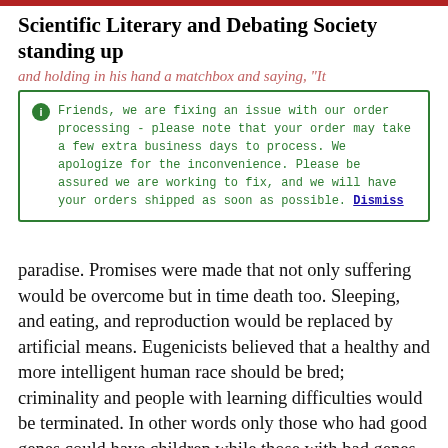Scientific Literary and Debating Society standing up
and holding in his hand a matchbox and saying, "It will only take the amount of uranium contained in this matchbox..." There were the dreams of regaining, needs for a year. There were the dreams of regaining,
Friends, we are fixing an issue with our order processing - please note that your order may take a few extra business days to process. We apologize for the inconvenience. Please be assured we are working to fix, and we will have your orders shipped as soon as possible. Dismiss
paradise. Promises were made that not only suffering would be overcome but in time death too. Sleeping, and eating, and reproduction would be replaced by artificial means. Eugenicists believed that a healthy and more intelligent human race should be bred; criminality and people with learning difficulties would be terminated. In other words only those who had good genes could have children while those with bad genes would be prevented altogether by confinement or forcible sterilization. So paradise would be regained.